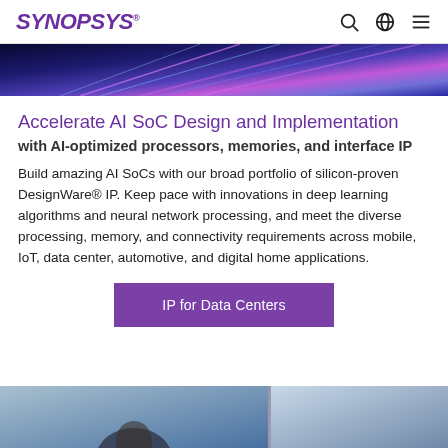SYNOPSYS
[Figure (photo): Abstract technology/data center image with blue and purple light streaks]
Accelerate AI SoC Design and Implementation
with AI-optimized processors, memories, and interface IP
Build amazing AI SoCs with our broad portfolio of silicon-proven DesignWare® IP. Keep pace with innovations in deep learning algorithms and neural network processing, and meet the diverse processing, memory, and connectivity requirements across mobile, IoT, data center, automotive, and digital home applications.
IP for Data Centers
[Figure (photo): Bottom portion showing a person and an office/building scene, partially cropped]